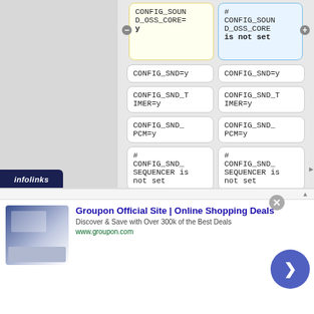[Figure (screenshot): Screenshot of a kernel configuration comparison tool showing two columns of config entries. Left column shows CONFIG_SOUND_OSS_CORE=y (highlighted yellow), right column shows # CONFIG_SOUND_OSS_CORE is not set (highlighted blue). Below are pairs of matching config cells: CONFIG_SND=y, CONFIG_SND_TIMER=y, CONFIG_SND_PCM=y, # CONFIG_SND_SEQUENCER is not set, and partial CONFIG_SND row at bottom. An advertisement overlay from Groupon via Infolinks appears at the bottom.]
CONFIG_SOUND_OSS_CORE=y vs # CONFIG_SOUND_OSS_CORE is not set; CONFIG_SND=y; CONFIG_SND_TIMER=y; CONFIG_SND_PCM=y; # CONFIG_SND_SEQUENCER is not set; CONFIG_SND (partial)